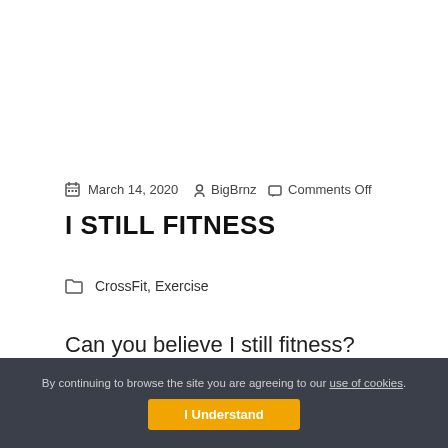March 14, 2020  BigBrnz  Comments Off
I STILL FITNESS
CrossFit,  Exercise
Can you believe I still fitness? Crazy concept right?...
By continuing to browse the site you are agreeing to our use of cookies.
I Understand